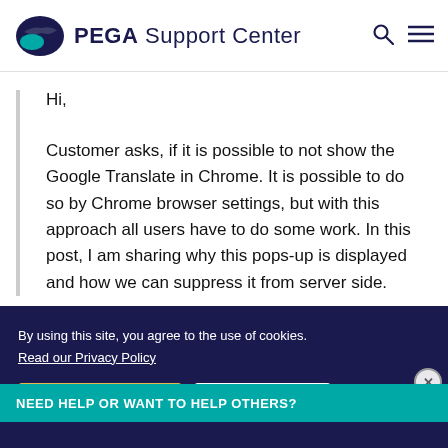PEGA Support Center
Hi,
Customer asks, if it is possible to not show the Google Translate in Chrome. It is possible to do so by Chrome browser settings, but with this approach all users have to do some work. In this post, I am sharing why this pops-up is displayed and how we can suppress it from server side.
NEED HELP OR WANT TO HELP OTHERS?
By using this site, you agree to the use of cookies.
Read our Privacy Policy
Accept and continue
About cookies